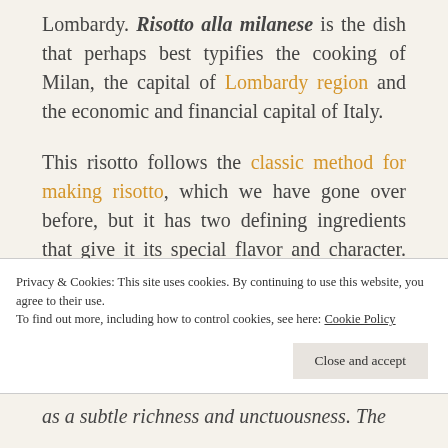Lombardy. Risotto alla milanese is the dish that perhaps best typifies the cooking of Milan, the capital of Lombardy region and the economic and financial capital of Italy.
This risotto follows the classic method for making risotto, which we have gone over before, but it has two defining ingredients that give it its special flavor and character. As many of you will already know, it is flavored with saffron—which gives it a beautiful gold
Privacy & Cookies: This site uses cookies. By continuing to use this website, you agree to their use. To find out more, including how to control cookies, see here: Cookie Policy
as a subtle richness and unctuousness. The